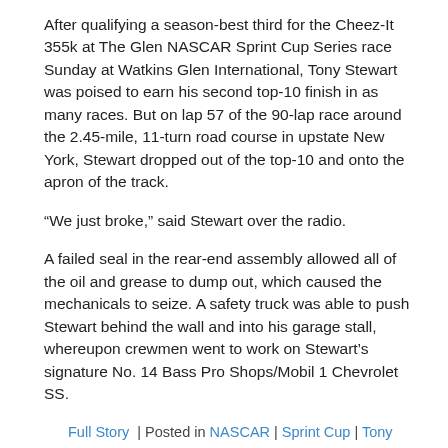After qualifying a season-best third for the Cheez-It 355k at The Glen NASCAR Sprint Cup Series race Sunday at Watkins Glen International, Tony Stewart was poised to earn his second top-10 finish in as many races. But on lap 57 of the 90-lap race around the 2.45-mile, 11-turn road course in upstate New York, Stewart dropped out of the top-10 and onto the apron of the track.
“We just broke,” said Stewart over the radio.
A failed seal in the rear-end assembly allowed all of the oil and grease to dump out, which caused the mechanicals to seize. A safety truck was able to push Stewart behind the wall and into his garage stall, whereupon crewmen went to work on Stewart’s signature No. 14 Bass Pro Shops/Mobil 1 Chevrolet SS.
Full Story | Posted in NASCAR | Sprint Cup | Tony Stewart
CHEEZ-IT 355K AT THE GLEN QUALIFYING